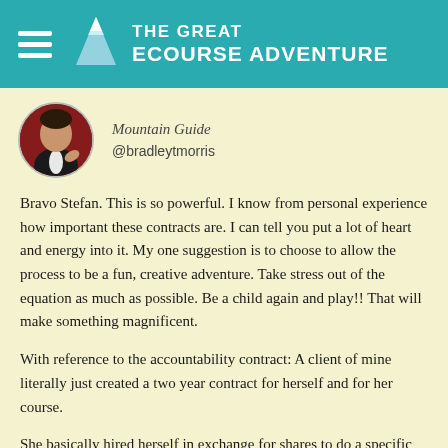THE GREAT eCOURSE ADVENTURE
[Figure (photo): Circular avatar photo of Bradley T Morris dressed in black with a white detail, against a dark red curtain background. Role label: Mountain Guide. Handle: @bradleytmorris]
Bravo Stefan. This is so powerful. I know from personal experience how important these contracts are. I can tell you put a lot of heart and energy into it. My one suggestion is to choose to allow the process to be a fun, creative adventure. Take stress out of the equation as much as possible. Be a child again and play!! That will make something magnificent.
With reference to the accountability contract: A client of mine literally just created a two year contract for herself and for her course.
She basically hired herself in exchange for shares to do a specific set of jobs (create a series of eCourses) and she